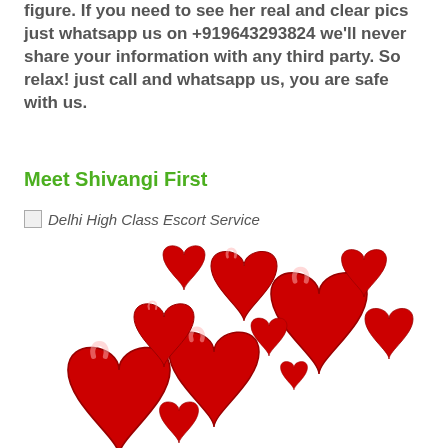figure. If you need to see her real and clear pics just whatsapp us on +919643293824 we'll never share your information with any third party. So relax! just call and whatsapp us, you are safe with us.
Meet Shivangi First
[Figure (illustration): Broken image placeholder labeled 'Delhi High Class Escort Service' followed by a cluster of red heart illustrations arranged in a decorative bouquet pattern]